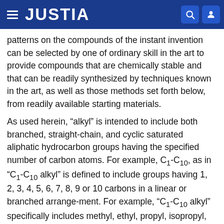JUSTIA
patterns on the compounds of the instant invention can be selected by one of ordinary skill in the art to provide compounds that are chemically stable and that can be readily synthesized by techniques known in the art, as well as those methods set forth below, from readily available starting materials.
As used herein, “alkyl” is intended to include both branched, straight-chain, and cyclic saturated aliphatic hydrocarbon groups having the specified number of carbon atoms. For example, C1-C10, as in “C1-C10 alkyl” is defined to include groups having 1, 2, 3, 4, 5, 6, 7, 8, 9 or 10 carbons in a linear or branched arrange-ment. For example, “C1-C10 alkyl” specifically includes methyl, ethyl, propyl, isopropyl, butyl, t-butyl, pentyl, hexyl, heptyl, octyl, nonyl, decyl, adamantyl, and so on.
“Cycloalkyl” is intended to include...